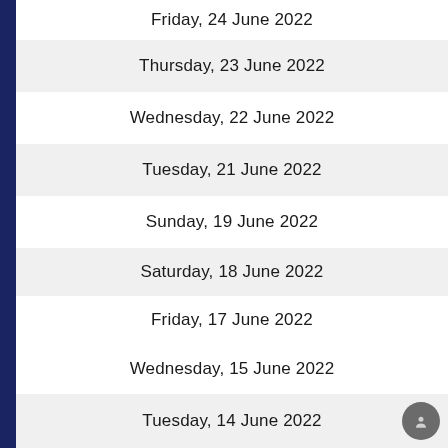Friday, 24 June 2022
Thursday, 23 June 2022
Wednesday, 22 June 2022
Tuesday, 21 June 2022
Sunday, 19 June 2022
Saturday, 18 June 2022
Friday, 17 June 2022
Thursday, 16 June 2022
Wednesday, 15 June 2022
Tuesday, 14 June 2022